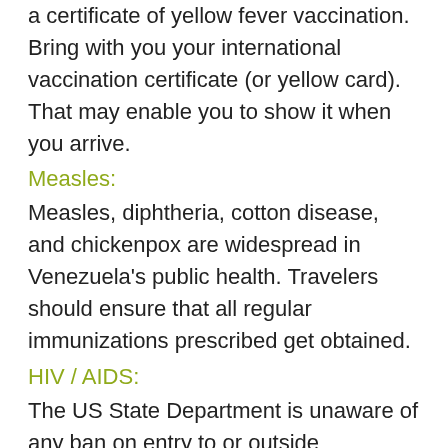a certificate of yellow fever vaccination. Bring with you your international vaccination certificate (or yellow card). That may enable you to show it when you arrive.
Measles:
Measles, diphtheria, cotton disease, and chickenpox are widespread in Venezuela’s public health. Travelers should ensure that all regular immunizations prescribed get obtained.
HIV / AIDS:
The US State Department is unaware of any ban on entry to or outside Venezuelan visitors to HIV / AIDS. Be aware, that HIV / AIDS medicines are often not available.
Customs: Travelers can contact the nearest Venezuelan embassy. Or can consulate for up-to-date information about visas, taxes, and customs